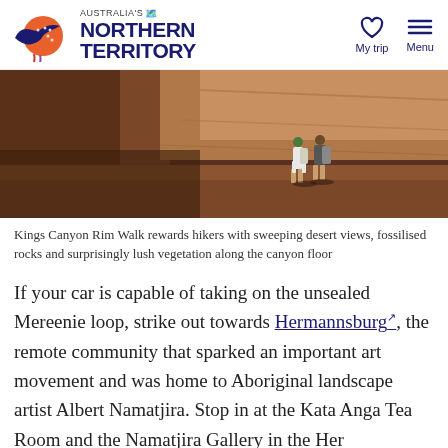Australia's Northern Territory — My trip | Menu
[Figure (photo): Two hikers standing on red rock ledge inside Kings Canyon, with canyon walls in background]
Kings Canyon Rim Walk rewards hikers with sweeping desert views, fossilised rocks and surprisingly lush vegetation along the canyon floor
If your car is capable of taking on the unsealed Mereenie loop, strike out towards Hermannsburg, the remote community that sparked an important art movement and was home to Aboriginal landscape artist Albert Namatjira. Stop in at the Kata Anga Tea Room and the Namatjira Gallery in the Hermannsburg...